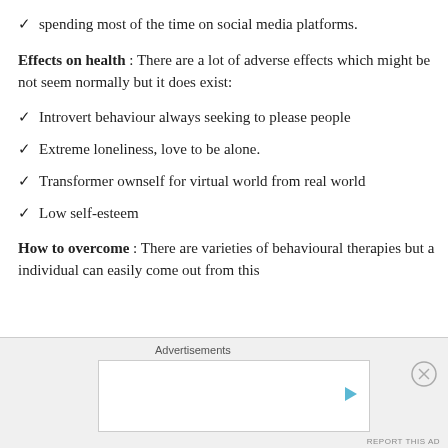spending most of the time on social media platforms.
Effects on health : There are a lot of adverse effects which might be not seem normally but it does exist:
Introvert behaviour always seeking to please people
Extreme loneliness, love to be alone.
Transformer ownself for virtual world from real world
Low self-esteem
How to overcome : There are varieties of behavioural therapies but a individual can easily come out from this
[Figure (other): Advertisement banner with play button icon and close button]